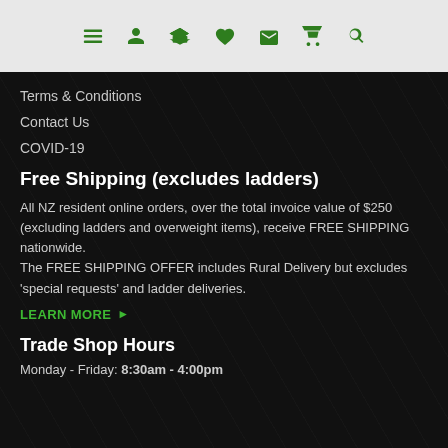Navigation bar with icons: menu, account, graduation cap, heart, envelope, cart, search
Terms & Conditions
Contact Us
COVID-19
Free Shipping (excludes ladders)
All NZ resident online orders, over the total invoice value of $250 (excluding ladders and overweight items), receive FREE SHIPPING nationwide.
The FREE SHIPPING OFFER includes Rural Delivery but excludes 'special requests' and ladder deliveries.
LEARN MORE ▶
Trade Shop Hours
Monday - Friday: 8:30am - 4:00pm